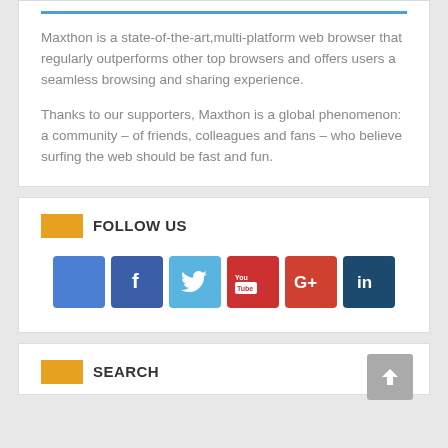Maxthon is a state-of-the-art,multi-platform web browser that regularly outperforms other top browsers and offers users a seamless browsing and sharing experience.
Thanks to our supporters, Maxthon is a global phenomenon: a community – of friends, colleagues and fans – who believe surfing the web should be fast and fun.
FOLLOW US
[Figure (other): Social media icons row: Facebook (light blue square), Facebook (dark blue with f icon), Twitter (light blue with bird icon), YouTube (red with You Tube logo), Google+ (red with G+ icon), LinkedIn (dark blue with in icon)]
SEARCH